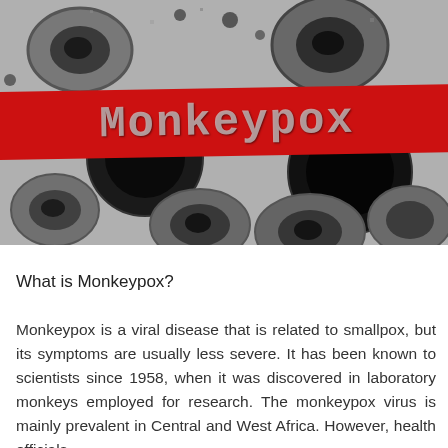[Figure (photo): Electron microscope image of monkeypox virus particles (black and white/grayscale) with a red diagonal painted banner overlay reading 'Monkeypox' in large bold letters.]
What is Monkeypox?
Monkeypox is a viral disease that is related to smallpox, but its symptoms are usually less severe. It has been known to scientists since 1958, when it was discovered in laboratory monkeys employed for research. The monkeypox virus is mainly prevalent in Central and West Africa. However, health officials